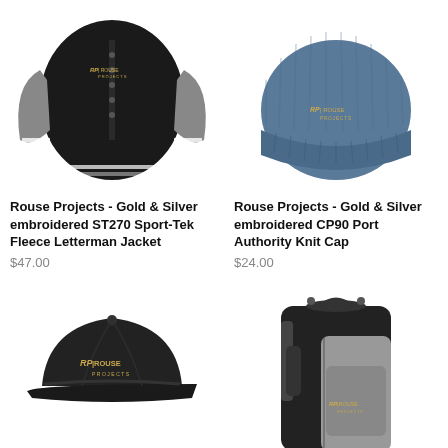[Figure (photo): Black and gray varsity/letterman jacket with Rouse Projects gold embroidered logo on chest]
Rouse Projects - Gold & Silver embroidered ST270 Sport-Tek Fleece Letterman Jacket
$47.00
[Figure (photo): Blue knit beanie/cap with Rouse Projects gold embroidered logo]
Rouse Projects - Gold & Silver embroidered CP90 Port Authority Knit Cap
$24.00
[Figure (photo): Black baseball cap with Rouse Projects gold embroidered logo]
[Figure (photo): Black and gray backpack with Rouse Projects gold embroidered logo]